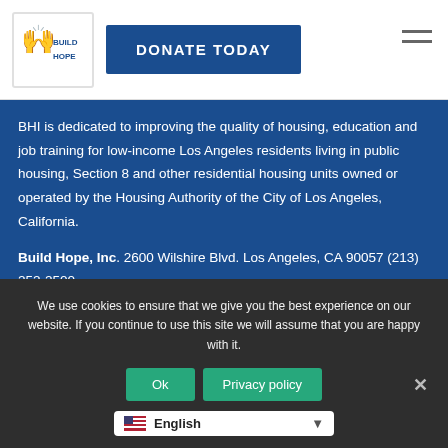Build Hope Inc. logo | DONATE TODAY | hamburger menu
BHI is dedicated to improving the quality of housing, education and job training for low-income Los Angeles residents living in public housing, Section 8 and other residential housing units owned or operated by the Housing Authority of the City of Los Angeles, California.
Build Hope, Inc. 2600 Wilshire Blvd. Los Angeles, CA 90057 (213) 252-2500
CONNECT WITH BUILD HOPE AND MAKE A DIFFERENCE
We use cookies to ensure that we give you the best experience on our website. If you continue to use this site we will assume that you are happy with it.
Ok | Privacy policy | ✕
English